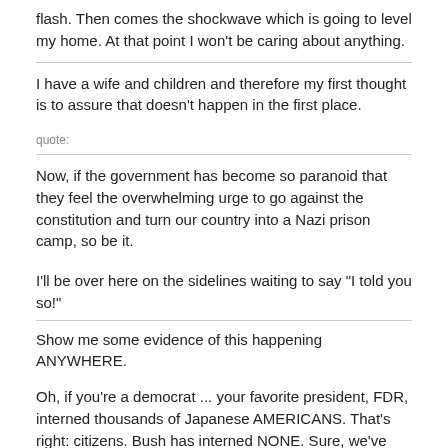flash. Then comes the shockwave which is going to level my home. At that point I won't be caring about anything.
I have a wife and children and therefore my first thought is to assure that doesn't happen in the first place.
quote:
Now, if the government has become so paranoid that they feel the overwhelming urge to go against the constitution and turn our country into a Nazi prison camp, so be it.
I'll be over here on the sidelines waiting to say "I told you so!"
Show me some evidence of this happening ANYWHERE.
Oh, if you're a democrat ... your favorite president, FDR, interned thousands of Japanese AMERICANS. That's right: citizens. Bush has interned NONE. Sure, we've interned suspected terrorists in Cuba, but they don't have the same rights as Americans.
quote: